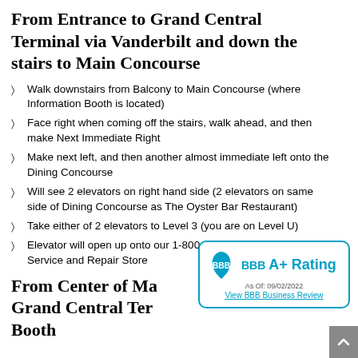From Entrance to Grand Central Terminal via Vanderbilt and down the stairs to Main Concourse
Walk downstairs from Balcony to Main Concourse (where Information Booth is located)
Face right when coming off the stairs, walk ahead, and then make Next Immediate Right
Make next left, and then another almost immediate left onto the Dining Concourse
Will see 2 elevators on right hand side (2 elevators on same side of Dining Concourse as The Oyster Bar Restaurant)
Take either of 2 elevators to Level 3 (you are on Level U)
Elevator will open up onto our 1-800-4CLOCKS and Falt Watch Service and Repair Store
[Figure (logo): BBB A+ Rating badge, As Of: 09/02/2022, View BBB Business Review]
From Center of Main Concourse, Grand Central Terminal, Information Booth